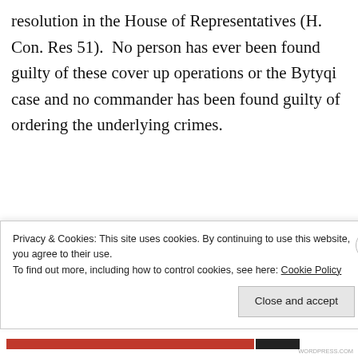resolution in the House of Representatives (H. Con. Res 51).  No person has ever been found guilty of these cover up operations or the Bytyqi case and no commander has been found guilty of ordering the underlying crimes.
[Figure (other): Advertisements block: WordPress ad reading 'Professionally designed sites in less than a week' with WordPress logo]
We hope to see you at the event on March 3rd.
Also special thanks to Tanya Domi, for hosting a
Privacy & Cookies: This site uses cookies. By continuing to use this website, you agree to their use.
To find out more, including how to control cookies, see here: Cookie Policy
Close and accept